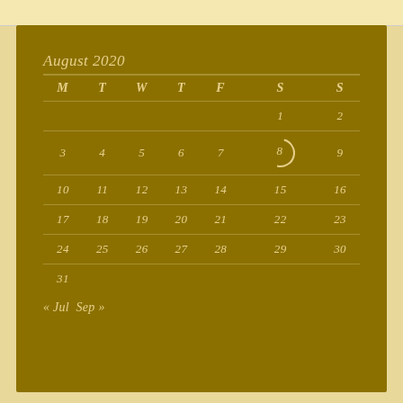August 2020
| M | T | W | T | F | S | S |
| --- | --- | --- | --- | --- | --- | --- |
|  |  |  |  |  | 1 | 2 |
| 3 | 4 | 5 | 6 | 7 | 8 | 9 |
| 10 | 11 | 12 | 13 | 14 | 15 | 16 |
| 17 | 18 | 19 | 20 | 21 | 22 | 23 |
| 24 | 25 | 26 | 27 | 28 | 29 | 30 |
| 31 |  |  |  |  |  |  |
« Jul  Sep »